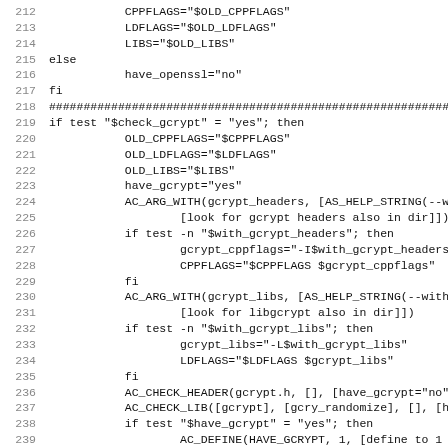Source code listing lines 212-243 of a shell script (configure/autoconf file)